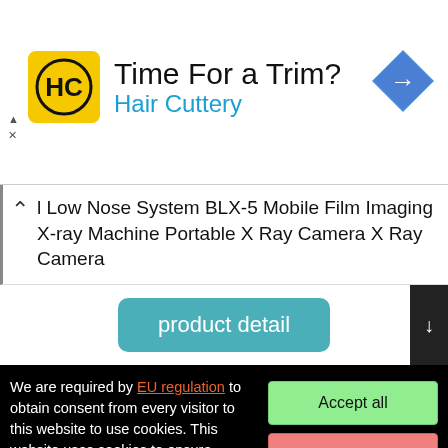[Figure (logo): Hair Cuttery advertisement banner with HC logo on yellow background, title 'Time For a Trim?' and subtitle 'Hair Cuttery' in blue, with a blue diamond direction arrow icon on the right]
l Low Nose System BLX-5 Mobile Film Imaging X-ray Machine Portable X Ray Camera X Ray Camera
[Figure (screenshot): Teal 'product detail' button on white background with dark scroll arrow button to the right]
We are required by EU regulation to obtain consent from every visitor to this website to use cookies. This website uses cookies to ensure functionality and, with your consent, to personalise content and measure traffic, among other things. By clicking on the "Accept All" button, you agree to the use of cookies and to the transfer of website behavioural data for the display of targeted advertising on social networks, advertising networks on other sites.